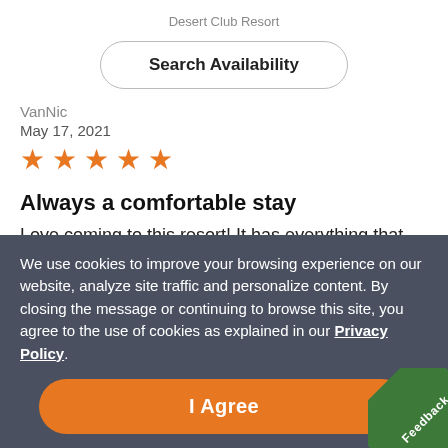Desert Club Resort
Search Availability
VanNic
May 17, 2021
[Figure (other): 5 orange star rating icons]
Always a comfortable stay
Love coming to this resort! It has everything that we need. Great for families!
Yes, I recommend this property
We use cookies to improve your browsing experience on our website, analyze site traffic and personalize content. By closing the message or continuing to browse this site, you agree to the use of cookies as explained in our Privacy Policy.
I Agree